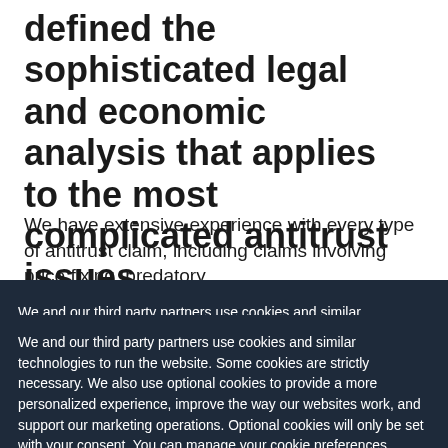defined the sophisticated legal and economic analysis that applies to the most complicated antitrust issues.
We have extensive experience with every type of antitrust claim, including claims involving price fixing, predatory
We and our third party partners use cookies and similar technologies to run the website. Some cookies are strictly necessary. We also use optional cookies to provide a more personalized experience, improve the way our websites work, and support our marketing operations. Optional cookies will only be set with your consent. You can manage your cookie preferences through the “Cookie Settings” button. For more information, see our Privacy Notice and Cookie Notice.
Cookie Settings
Reject All